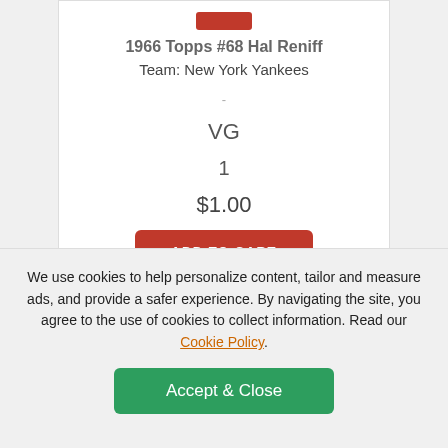1966 Topps #68 Hal Reniff
Team: New York Yankees
-
VG
1
$1.00
ADD TO CART
[Figure (photo): Baseball card image of a player in a dark cap and white uniform, holding a baseball]
We use cookies to help personalize content, tailor and measure ads, and provide a safer experience. By navigating the site, you agree to the use of cookies to collect information. Read our Cookie Policy.
Accept & Close